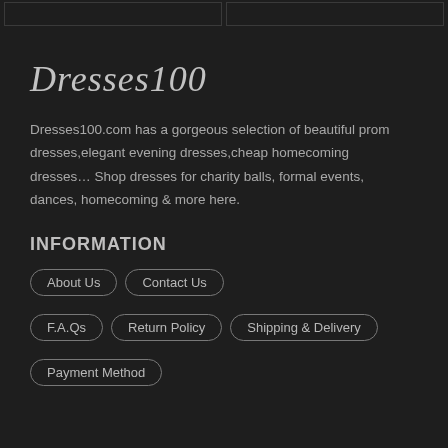[Figure (other): Two bordered image placeholders at the top of the page on dark background]
Dresses100
Dresses100.com has a gorgeous selection of beautiful prom dresses,elegant evening dresses,cheap homecoming dresses… Shop dresses for charity balls, formal events, dances, homecoming & more here.
INFORMATION
About Us
Contact Us
F.A.Qs
Return Policy
Shipping & Delivery
Payment Method